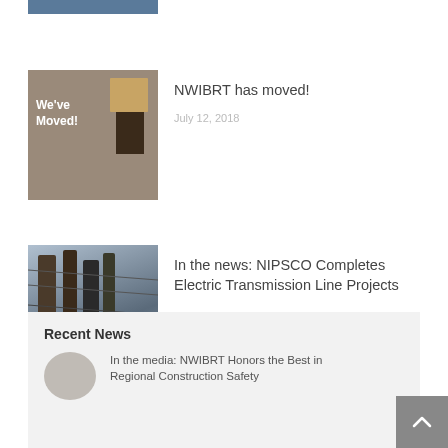[Figure (photo): Partial top strip of an image, cropped at top of page]
[Figure (photo): Photo showing a person holding boxes with text 'We've Moved!' overlay]
NWIBRT has moved!
July 12, 2018
[Figure (photo): Photo of electric transmission line infrastructure, insulators and wires]
In the news: NIPSCO Completes Electric Transmission Line Projects
June 29, 2018
Recent News
In the media: NWIBRT Honors the Best in Regional Construction Safety